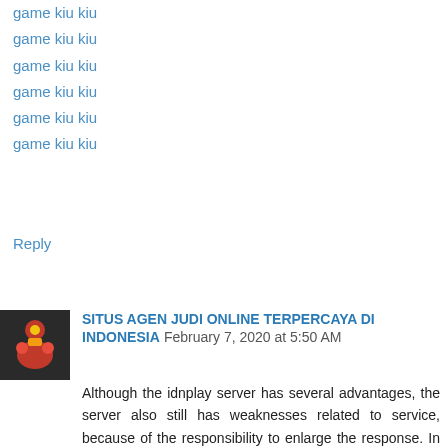game kiu kiu
game kiu kiu
game kiu kiu
game kiu kiu
game kiu kiu
Reply
[Figure (photo): Avatar image of a comment author showing a decorative figure]
SITUS AGEN JUDI ONLINE TERPERCAYA DI INDONESIA   February 7, 2020 at 5:50 AM
Although the idnplay server has several advantages, the server also still has weaknesses related to service, because of the responsibility to enlarge the response. In addition, this server also often matches what the player expects to play.
idn poker
poker online terpercaya
judi online terpercaya
situs poker terpercaya
poker idn